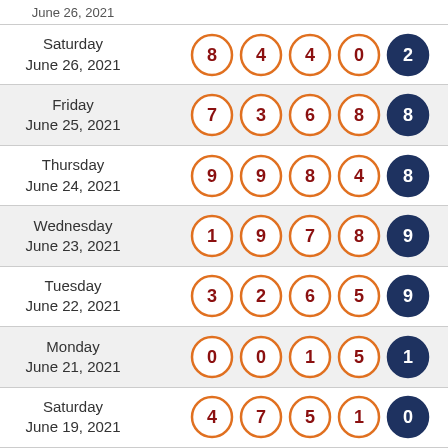| Date | Numbers |
| --- | --- |
| Saturday June 26, 2021 | 8 4 4 0 | 2 |
| Friday June 25, 2021 | 7 3 6 8 | 8 |
| Thursday June 24, 2021 | 9 9 8 4 | 8 |
| Wednesday June 23, 2021 | 1 9 7 8 | 9 |
| Tuesday June 22, 2021 | 3 2 6 5 | 9 |
| Monday June 21, 2021 | 0 0 1 5 | 1 |
| Saturday June 19, 2021 | 4 7 5 1 | 0 |